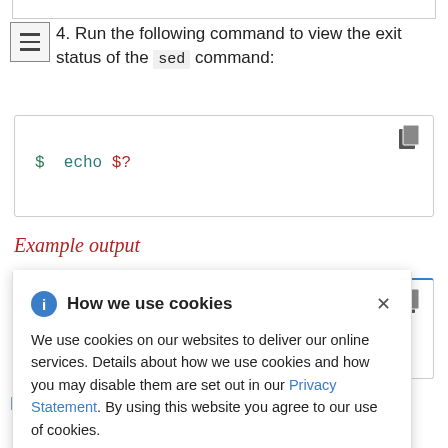4. Run the following command to view the exit status of the sed command:
$ echo $?
Example output
[Figure (screenshot): Cookie consent modal overlay with 'How we use cookies' heading, info icon, close X button, body text about cookie usage and Privacy Statement link]
er process eived a hat the OOM kill counter in